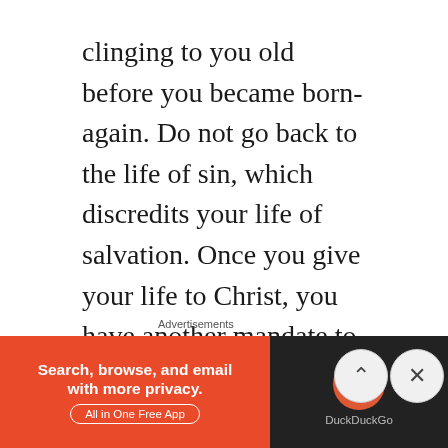clinging to you old before you became born-again. Do not go back to the life of sin, which discredits your life of salvation. Once you give your life to Christ, you have another mandate to work your salvation with fear and trembling and preserve your life from becoming a pillar of salt.

Once God rescues you from the kingdom of darkness, you have to
[Figure (screenshot): DuckDuckGo advertisement banner with orange left panel reading 'Search, browse, and email with more privacy. All in One Free App' and dark right panel with DuckDuckGo logo]